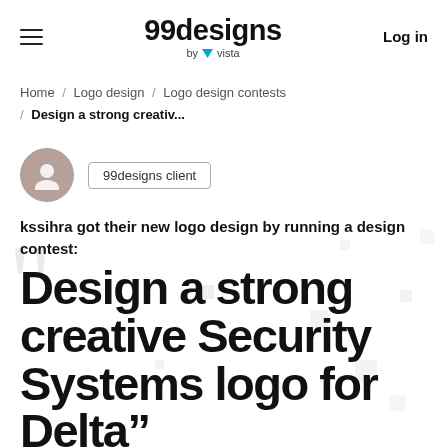99designs by vista — Log in
Home / Logo design / Logo design contests / Design a strong creativ...
99designs client
kssihra got their new logo design by running a design contest:
Design a strong creative Security Systems logo for Delta”